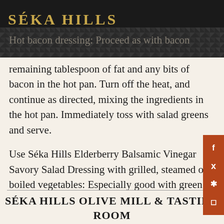SÉKA HILLS
remaining tablespoon of fat and any bits of bacon in the hot pan. Turn off the heat, and continue as directed, mixing the ingredients in the hot pan. Immediately toss with salad greens and serve.
Use Séka Hills Elderberry Balsamic Vinegar Savory Salad Dressing with grilled, steamed or boiled vegetables: Especially good with green beans, brussels sprouts, pan-sautéed cabbage, asparagus, zucchini and summer squashes.
SÉKA HILLS OLIVE MILL & TASTING ROOM